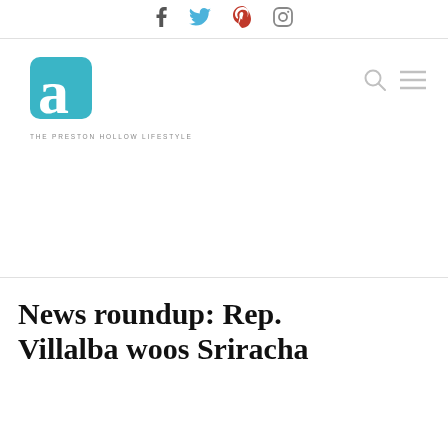f  Twitter  Pinterest  Instagram
[Figure (logo): Akin Magazine logo — teal rounded square with stylized 'a' letterform and tagline 'THE PRESTON HOLLOW LIFESTYLE']
News roundup: Rep. Villalba woos Sriracha